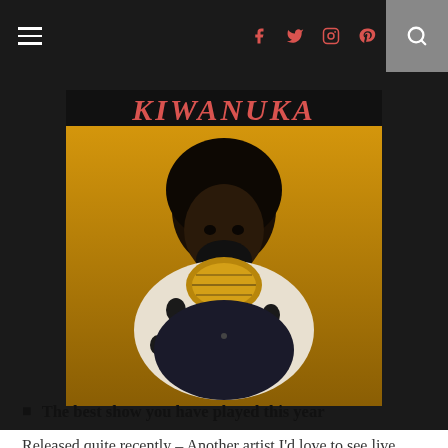≡  f  tw  inst  pint  🔍
[Figure (photo): Album cover for KIWANUKA by Michael Kiwanuka. Text 'KIWANUKA' in large orange retro font at top. Below is a photo of a Black man with an afro, wearing a white fur-trimmed robe with a gold collar necklace, posed against a golden/yellow background.]
Released quite recently – Another artist I'd love to see live.
The best show you have played this year